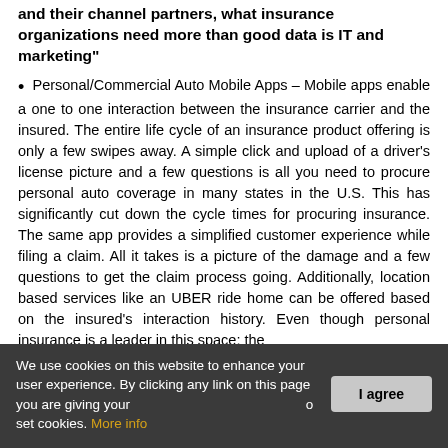and their channel partners, what insurance organizations need more than good data is IT and marketing"
Personal/Commercial Auto Mobile Apps – Mobile apps enable a one to one interaction between the insurance carrier and the insured. The entire life cycle of an insurance product offering is only a few swipes away. A simple click and upload of a driver's license picture and a few questions is all you need to procure personal auto coverage in many states in the U.S. This has significantly cut down the cycle times for procuring insurance. The same app provides a simplified customer experience while filing a claim. All it takes is a picture of the damage and a few questions to get the claim process going. Additionally, location based services like an UBER ride home can be offered based on the insured's interaction history. Even though personal insurance is a leader in this space; the
We use cookies on this website to enhance your user experience. By clicking any link on this page you are giving your consent for us to set cookies. More info